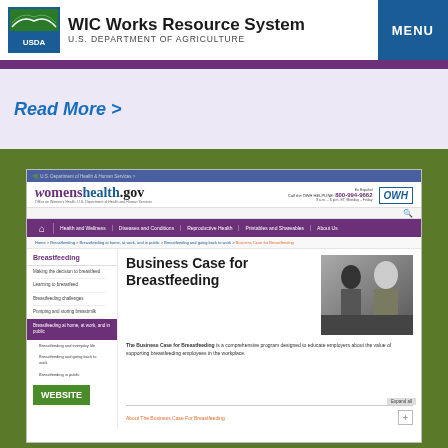WIC Works Resource System | U.S. DEPARTMENT OF AGRICULTURE
Read More >
[Figure (screenshot): Screenshot of womenshealth.gov website showing the Business Case for Breastfeeding page. The page includes the womenshealth.gov header with OWH logo, navigation bar with Health and Wellness, Diseases and Conditions, Reproductive Health, Printables and Shareables, About Us. Breadcrumb showing Home > Breastfeeding > Breastfeeding at home, at work, and in public > Breastfeeding and going back to work > Business Case for Breastfeeding. Left sidebar with Breastfeeding navigation links and WEBSITE badge. Main content area with title Business Case for Breastfeeding and descriptive text about the program.]
Business Case for Breastfeeding
The Business Case for Breastfeeding is a comprehensive program designed to educate employers about the value of supporting breastfeeding employees in the workplace.
About The Business Case For Breastfeeding